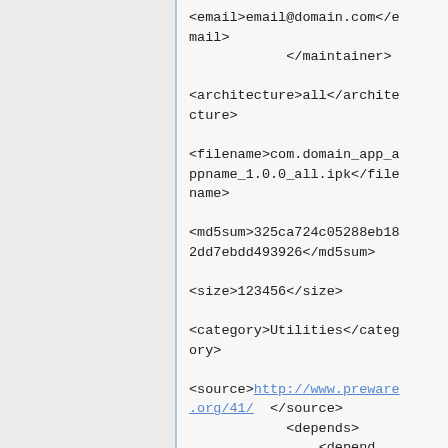<email>email@domain.com</email>
            </maintainer>

<architecture>all</architecture>

<filename>com.domain_app_appname_1.0.0_all.ipk</filename>

<md5sum>325ca724c05288eb182dd7ebdd493926</md5sum>

<size>123456</size>

<category>Utilities</category>

<source>http://www.preware.org/41/  </source>
            <depends>
                <depend id="20" type="plugin">